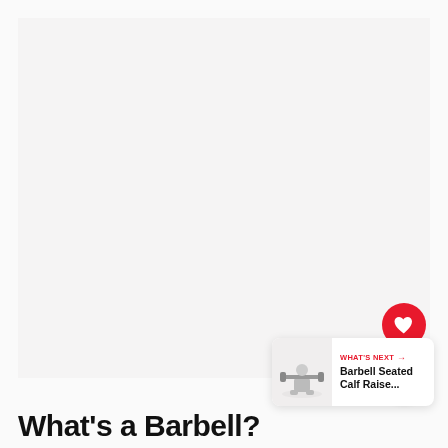[Figure (photo): Large mostly blank/white image area representing a barbell exercise photo placeholder]
[Figure (illustration): Small thumbnail image of a person doing barbell seated calf raise exercise]
What's a Barbell?
WHAT'S NEXT → Barbell Seated Calf Raise...